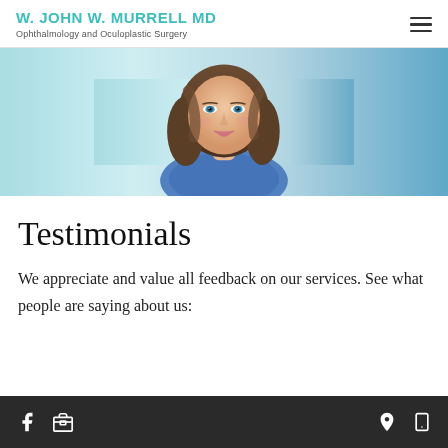W. JOHN W. MURRELL MD
Ophthalmology and Oculoplastic Surgery
[Figure (photo): Close-up photo of a smiling woman with brown hair and blue eyes, wearing a blue top, against a light blue background]
Testimonials
We appreciate and value all feedback on our services. See what people are saying about us:
Footer navigation bar with Facebook icon, Google business icon, location pin icon, and mobile phone icon